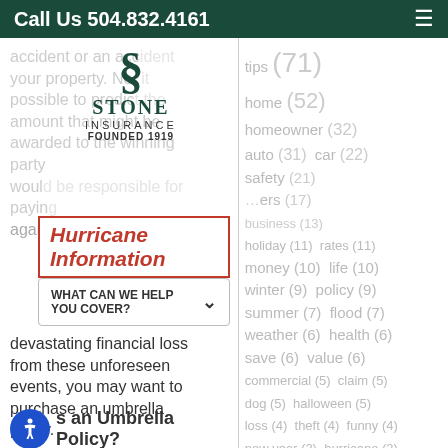Call Us 504.832.4161
[Figure (logo): Stone Insurance logo with large S symbol, text STONE INSURANCE FOUNDED 1919]
accident or an accident on your property. No, it is not possible to predict the amount that might be awarded to the winning party...would be responsible for paying...against the possibility of devastating financial loss from these unforeseen events, you may want to purchase an umbrella policy.
Hurricane Information
WHAT CAN WE HELP YOU COVER?
tips (71) home (52) homeowner (32) auto (31) car (22) safety (21) ...ers (17) business (13) holiday (11) rates (11) money (10) life (10) winter (9) policy (9) summer (7) flood (7) weather (6) health (6) save (6) value (6) commercial (5) claim (5) dog (5) halloween (5) loss (4) theft (4) funny (4) new year (3) hurricane (3) accident (3) liability (3) family (2) louisiana (2)
What is an Umbrella Policy?
An umbrella policy protects your existing